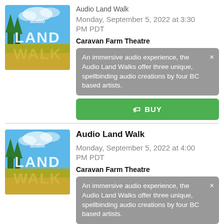[Figure (photo): Audio Land Walk promotional image with text 'audio LAND WALK' over a scenic landscape with blue sky and golden fields]
Audio Land Walk
Monday, September 5, 2022 at 3:30 PM PDT
Caravan Farm Theatre
An immersive audio experience, the Audio Land Walks offer three unique, spellbinding audio creations by four BC based artists.
BUY
[Figure (photo): Audio Land Walk promotional image with text 'audio LAND WALK' over a scenic landscape with blue sky and golden fields]
Audio Land Walk
Monday, September 5, 2022 at 4:00 PM PDT
Caravan Farm Theatre
An immersive audio experience, the Audio Land Walks offer three unique, spellbinding audio creations by four BC based artists.